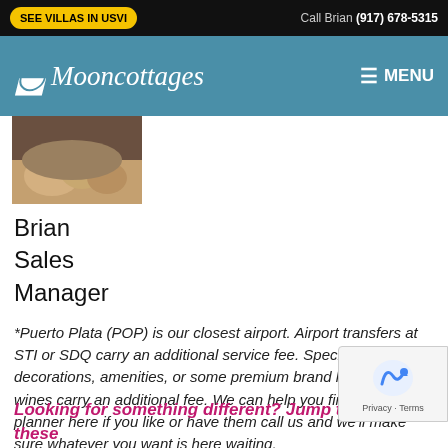SEE VILLAS IN USVI | Call Brian (917) 678-5315
[Figure (logo): Mooncottages logo with crescent moon and cursive text on teal navigation bar with MENU button]
[Figure (photo): Photo of hands, appears to be a close-up image representing Brian the Sales Manager]
Brian
Sales
Manager
*Puerto Plata (POP) is our closest airport. Airport transfers at STI or SDQ carry an additional service fee. Special Wedding decorations, amenities, or some premium brand liquors and wines carry an additional fee. We can help you find a wedding planner here if you like or have them call us and we'll make sure whatever you want is here waiting.
Looking for something different? Jump to one of these